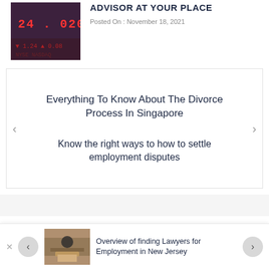[Figure (photo): Stock market ticker display showing numbers 24.020 in red on dark background]
ADVISOR AT YOUR PLACE
Posted On : November 18, 2021
Everything To Know About The Divorce Process In Singapore
Know the right ways to how to settle employment disputes
[Figure (photo): Person in suit sitting at desk with hands clasped, lawyer for employment]
Overview of finding Lawyers for Employment in New Jersey